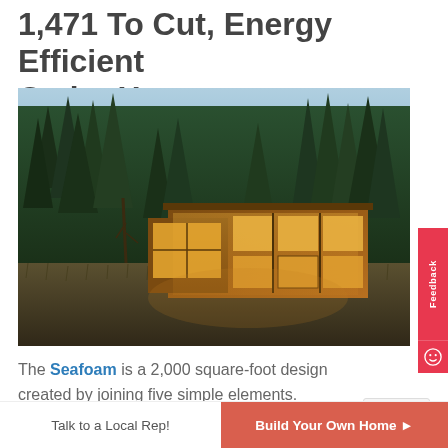1,471 To Cut, Energy Efficient Cedar Home
[Figure (photo): Exterior photo of a modern cedar home with large glass windows, illuminated from within at dusk, surrounded by tall evergreen trees and wild grass meadow]
The Seafoam is a 2,000 square-foot design created by joining five simple elements.
Talk to a Local Rep! | Build Your Own Home ▶